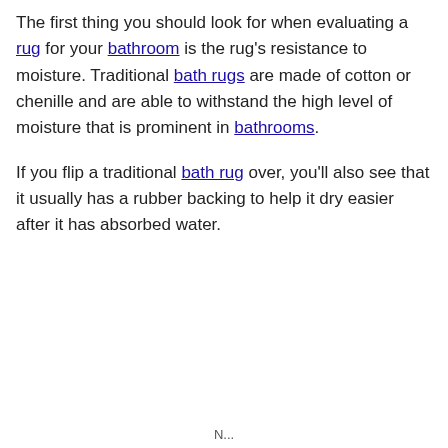The first thing you should look for when evaluating a rug for your bathroom is the rug's resistance to moisture. Traditional bath rugs are made of cotton or chenille and are able to withstand the high level of moisture that is prominent in bathrooms.
If you flip a traditional bath rug over, you'll also see that it usually has a rubber backing to help it dry easier after it has absorbed water.
N...